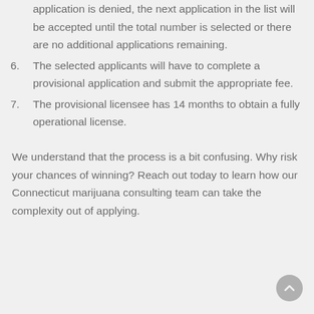application is denied, the next application in the list will be accepted until the total number is selected or there are no additional applications remaining.
6. The selected applicants will have to complete a provisional application and submit the appropriate fee.
7. The provisional licensee has 14 months to obtain a fully operational license.
We understand that the process is a bit confusing. Why risk your chances of winning? Reach out today to learn how our Connecticut marijuana consulting team can take the complexity out of applying.